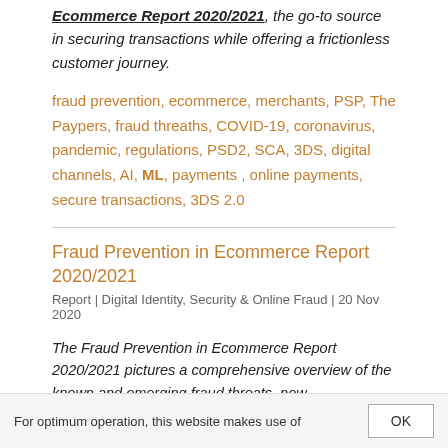Ecommerce Report 2020/2021, the go-to source in securing transactions while offering a frictionless customer journey.
fraud prevention, ecommerce, merchants, PSP, The Paypers, fraud threaths, COVID-19, coronavirus, pandemic, regulations, PSD2, SCA, 3DS, digital channels, AI, ML, payments , online payments, secure transactions, 3DS 2.0
Fraud Prevention in Ecommerce Report 2020/2021
Report | Digital Identity, Security & Online Fraud | 20 Nov 2020
The Fraud Prevention in Ecommerce Report 2020/2021 pictures a comprehensive overview of the known and emerging fraud threats, new technologies, and changes in the commerce industry.
For optimum operation, this website makes use of